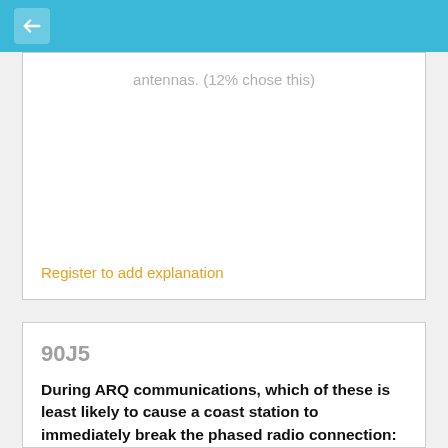← (back navigation)
antennas. (12% chose this)
Register to add explanation
90J5
During ARQ communications, which of these is least likely to cause a coast station to immediately break the phased radio connection:
A. If the automatic exchange of answerbacks is interrupted by keyboard entries. (19% chose this)